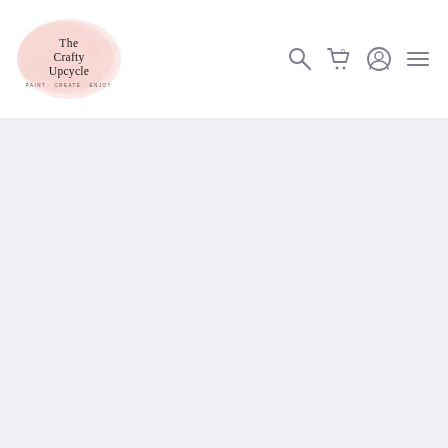[Figure (logo): The Crafty Upcycle logo: pink watercolor splash background with serif text reading 'The Crafty Upcycle' and small tagline 'PAINT · CREATE · ENJOY']
[Figure (other): Navigation bar icons: search magnifying glass, shopping cart with 0, user/account circle, and hamburger menu lines]